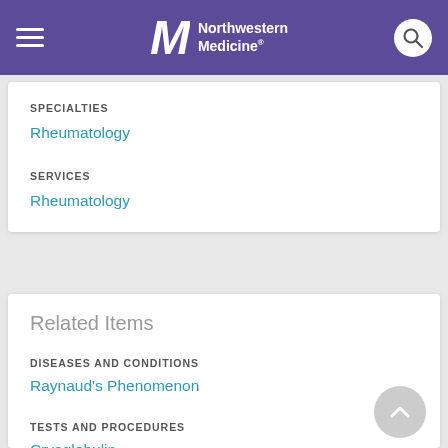Northwestern Medicine
SPECIALTIES
Rheumatology
SERVICES
Rheumatology
Related Items
DISEASES AND CONDITIONS
Raynaud's Phenomenon
TESTS AND PROCEDURES
Cryoglobulin